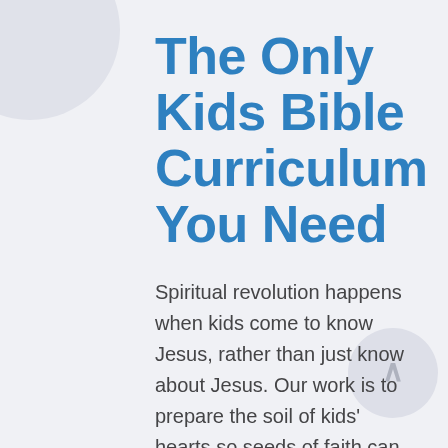The Only Kids Bible Curriculum You Need
Spiritual revolution happens when kids come to know Jesus, rather than just know about Jesus. Our work is to prepare the soil of kids' hearts so seeds of faith can grow, and a true relationship with Jesus can happen.
When you use Bible Blast, you know...